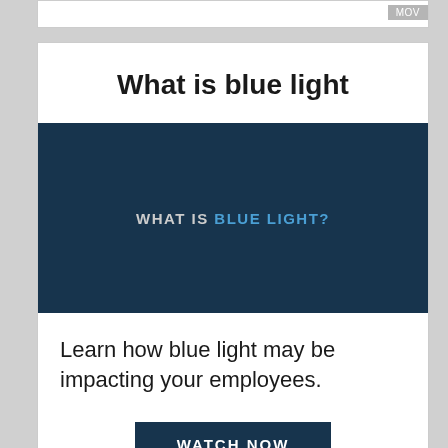MOV
What is blue light
[Figure (screenshot): Dark navy blue video thumbnail with white and blue uppercase text reading 'WHAT IS BLUE LIGHT?']
Learn how blue light may be impacting your employees.
WATCH NOW